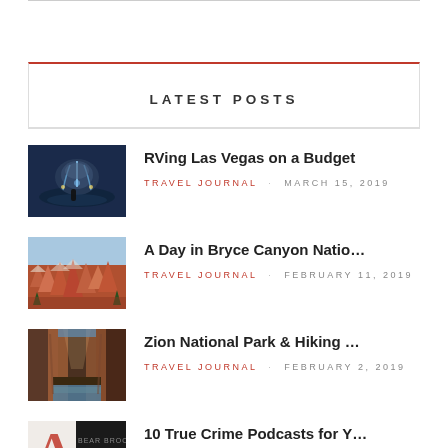LATEST POSTS
RVing Las Vegas on a Budget — TRAVEL JOURNAL · MARCH 15, 2019
A Day in Bryce Canyon Natio… — TRAVEL JOURNAL · FEBRUARY 11, 2019
Zion National Park & Hiking … — TRAVEL JOURNAL · FEBRUARY 2, 2019
10 True Crime Podcasts for Y…